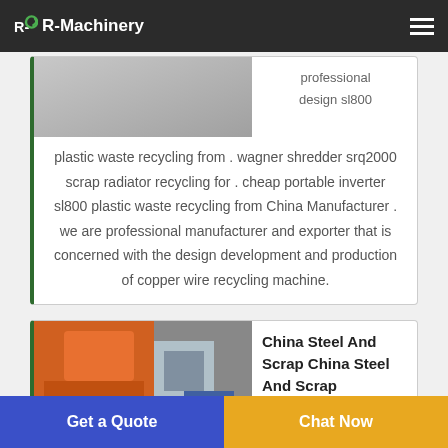R-Machinery
[Figure (photo): Machinery/recycling equipment photo (partially cropped at top)]
professional design sl800
plastic waste recycling from . wagner shredder srq2000 scrap radiator recycling for . cheap portable inverter sl800 plastic waste recycling from China Manufacturer . we are professional manufacturer and exporter that is concerned with the design development and production of copper wire recycling machine.
[Figure (photo): Orange and white industrial shredder/recycling machine in a factory setting]
China Steel And Scrap China Steel And Scrap
Get a Quote
Chat Now